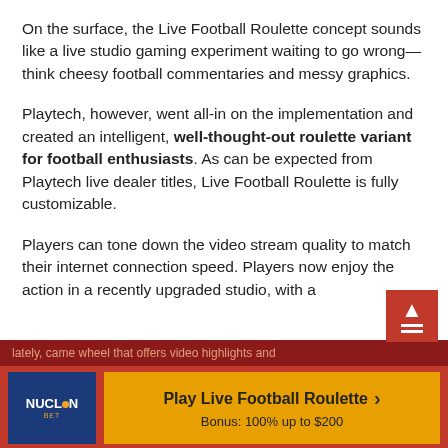On the surface, the Live Football Roulette concept sounds like a live studio gaming experiment waiting to go wrong—think cheesy football commentaries and messy graphics.
Playtech, however, went all-in on the implementation and created an intelligent, well-thought-out roulette variant for football enthusiasts. As can be expected from Playtech live dealer titles, Live Football Roulette is fully customizable.
Players can tone down the video stream quality to match their internet connection speed. Players now enjoy the action in a recently upgraded studio, with a
Play Live Football Roulette
Bonus: 100% up to $200